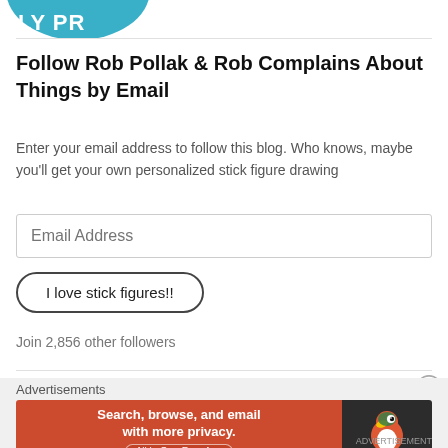[Figure (logo): Partial circular logo with text 'LY PR' visible on teal/blue background]
Follow Rob Pollak & Rob Complains About Things by Email
Enter your email address to follow this blog. Who knows, maybe you'll get your own personalized stick figure drawing
Email Address (input field)
I love stick figures!! (button)
Join 2,856 other followers
Advertisements
[Figure (screenshot): DuckDuckGo advertisement banner: 'Search, browse, and email with more privacy. All in One Free App' with DuckDuckGo logo on dark background]